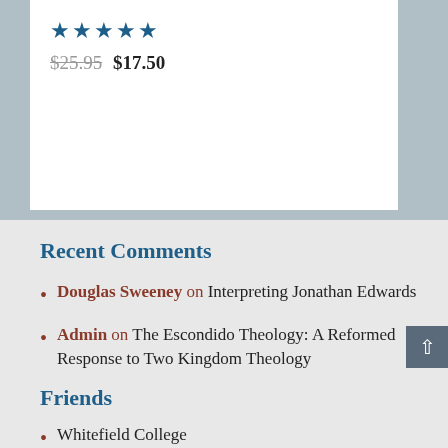★★★★★ $25.95 $17.50
Recent Comments
Douglas Sweeney on Interpreting Jonathan Edwards
Admin on The Escondido Theology: A Reformed Response to Two Kingdom Theology
Friends
Whitefield College
Whitefield Theological Seminary
Christ Presbyterian Church